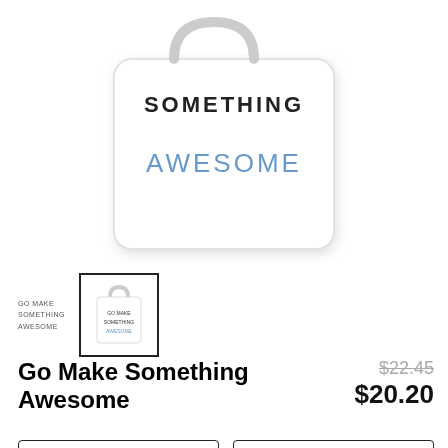[Figure (photo): Product image of a white tote bag with text 'GO MAKE SOMETHING AWESOME' printed on it, shown close-up on the upper portion of the page.]
[Figure (photo): Thumbnail row: small text thumbnail showing 'GO MAKE SOMETHING AWESOME' and a selected thumbnail with black border showing the full tote bag with handle.]
Go Make Something Awesome
$22.45 (strikethrough original price) $20.20 (sale price)
Accessories ▾
Bag ▾
Tote Bag ▾